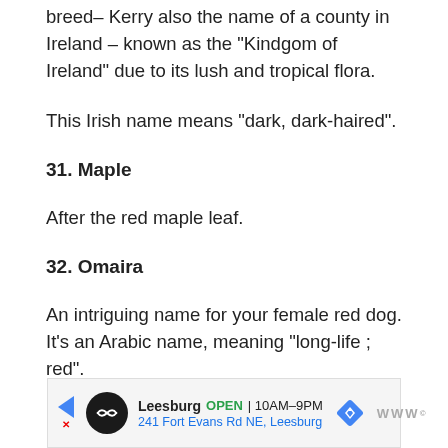breed– Kerry also the name of a county in Ireland – known as the “Kindgom of Ireland” due to its lush and tropical flora.
This Irish name means “dark, dark-haired”.
31. Maple
After the red maple leaf.
32. Omaira
An intriguing name for your female red dog. It’s an Arabic name, meaning “long-life ; red”.
[Figure (infographic): Advertisement banner for Leesburg store showing black circular logo with arrows icon, store name, OPEN status, hours 10AM-9PM, address 241 Fort Evans Rd NE Leesburg, blue diamond navigation icon, and Waze logo]